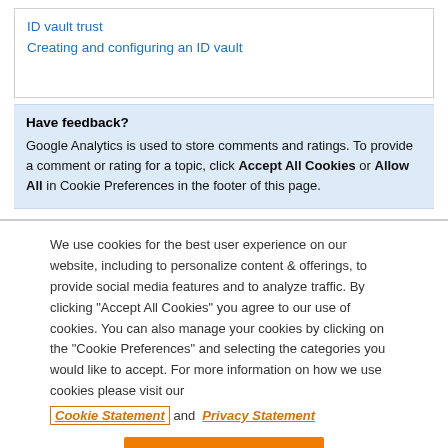ID vault trust
Creating and configuring an ID vault
Have feedback?
Google Analytics is used to store comments and ratings. To provide a comment or rating for a topic, click Accept All Cookies or Allow All in Cookie Preferences in the footer of this page.
We use cookies for the best user experience on our website, including to personalize content & offerings, to provide social media features and to analyze traffic. By clicking "Accept All Cookies" you agree to our use of cookies. You can also manage your cookies by clicking on the "Cookie Preferences" and selecting the categories you would like to accept. For more information on how we use cookies please visit our Cookie Statement and Privacy Statement